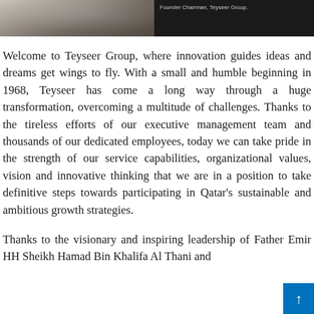[Figure (photo): Photo strip at top of page showing a person in traditional Gulf Arab dress on the left side against a dark background. The right side is dark with a caption label.]
Founder Chairman, Teyseer Group.
Welcome to Teyseer Group, where innovation guides ideas and dreams get wings to fly. With a small and humble beginning in 1968, Teyseer has come a long way through a huge transformation, overcoming a multitude of challenges. Thanks to the tireless efforts of our executive management team and thousands of our dedicated employees, today we can take pride in the strength of our service capabilities, organizational values, vision and innovative thinking that we are in a position to take definitive steps towards participating in Qatar's sustainable and ambitious growth strategies.
Thanks to the visionary and inspiring leadership of Father Emir HH Sheikh Hamad Bin Khalifa Al Thani and